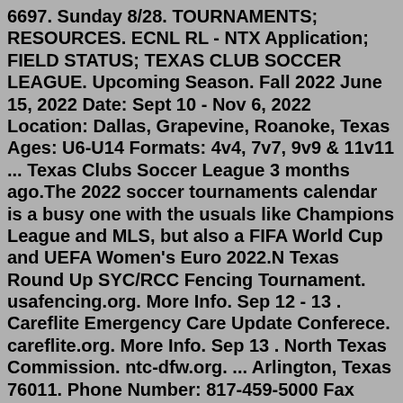6697. Sunday 8/28. TOURNAMENTS; RESOURCES. ECNL RL - NTX Application; FIELD STATUS; TEXAS CLUB SOCCER LEAGUE. Upcoming Season. Fall 2022 June 15, 2022 Date: Sept 10 - Nov 6, 2022 Location: Dallas, Grapevine, Roanoke, Texas Ages: U6-U14 Formats: 4v4, 7v7, 9v9 & 11v11 ... Texas Clubs Soccer League 3 months ago.The 2022 soccer tournaments calendar is a busy one with the usuals like Champions League and MLS, but also a FIFA World Cup and UEFA Women's Euro 2022.N Texas Round Up SYC/RCC Fencing Tournament. usafencing.org. More Info. Sep 12 - 13 . Careflite Emergency Care Update Conferece. careflite.org. More Info. Sep 13 . North Texas Commission. ntc-dfw.org. ... Arlington, Texas 76011. Phone Number: 817-459-5000 Fax Number: 817-459-5091 Email Us. Main Hours: Monday to Friday 8:00 a.m. - 5:00 p.m.Soccer Leagues, Tournaments, Classes, Pickups, and Camps near Arlington, TX Playpass helps you discover the best sports activities near Arlington, TX. 10 results. Zestimate® Home Value: $0. 100 W